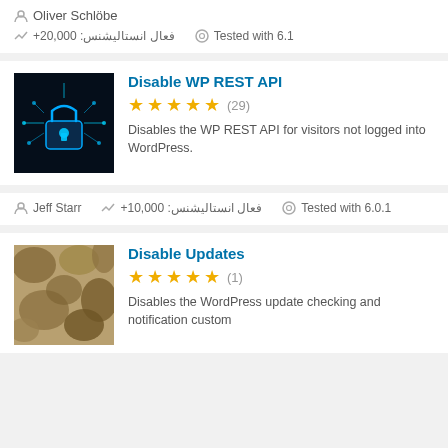Oliver Schlöbe
+فعال انستاليشنس: 20,000   Tested with 6.1
Disable WP REST API
5 stars (29)
Disables the WP REST API for visitors not logged into WordPress.
Jeff Starr
+فعال انستاليشنس: 10,000   Tested with 6.0.1
Disable Updates
5 stars (1)
Disables the WordPress update checking and notification custom